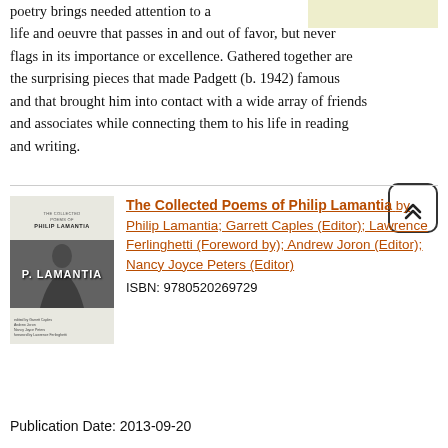poetry brings needed attention to a life and oeuvre that passes in and out of favor, but never flags in its importance or excellence. Gathered together are the surprising pieces that made Padgett (b. 1942) famous and that brought him into contact with a wide array of friends and associates while connecting them to his life in reading and writing.
[Figure (other): Beige/light yellow rectangular box in upper right area of text]
[Figure (other): Back to top button with double chevron up arrow, rounded square border]
[Figure (photo): Book cover of The Collected Poems of Philip Lamantia showing author name and a black-and-white photo of Philip Lamantia]
The Collected Poems of Philip Lamantia by Philip Lamantia; Garrett Caples (Editor); Lawrence Ferlinghetti (Foreword by); Andrew Joron (Editor); Nancy Joyce Peters (Editor)
ISBN: 9780520269729
Publication Date: 2013-09-20